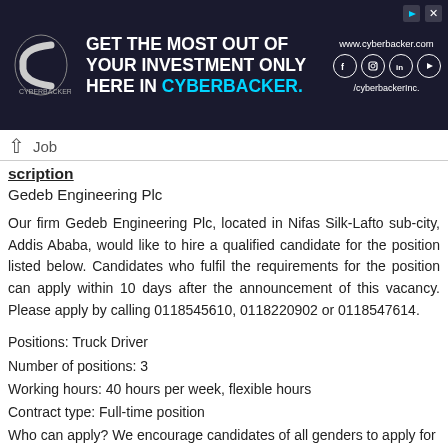[Figure (screenshot): Advertisement banner for Cyberbacker with dark background, logo, headline 'GET THE MOST OUT OF YOUR INVESTMENT ONLY HERE IN CYBERBACKER.' and social media icons, website www.cyberbacker.com and handle /cyberbackerInc.]
Job Description
Gedeb Engineering Plc
Our firm Gedeb Engineering Plc, located in Nifas Silk-Lafto sub-city, Addis Ababa, would like to hire a qualified candidate for the position listed below. Candidates who fulfil the requirements for the position can apply within 10 days after the announcement of this vacancy. Please apply by calling 0118545610, 0118220902 or 0118547614.
Positions: Truck Driver
Number of positions: 3
Working hours: 40 hours per week, flexible hours
Contract type: Full-time position
Who can apply? We encourage candidates of all genders to apply for this position, including women.
Salary: 5000 ETB per month
How to apply: please call 0118545610 or 0118220902...